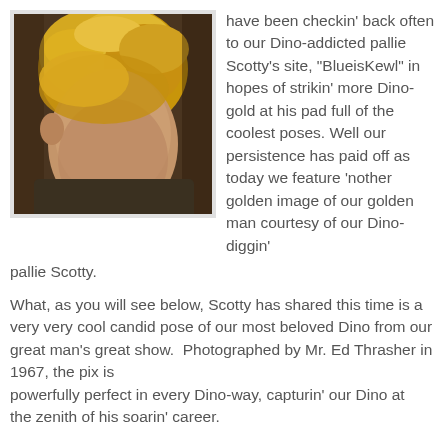[Figure (photo): Close-up photo of a young person with blonde/golden dyed hair, looking downward, wearing a dark top. Photo has a white/light gray border.]
have been checkin' back often to our Dino-addicted pallie Scotty's site, "BlueisKewl" in hopes of strikin' more Dino-gold at his pad full of the coolest poses. Well our persistence has paid off as today we feature 'nother golden image of our golden man courtesy of our Dino-diggin' pallie Scotty.
What, as you will see below, Scotty has shared this time is a very very cool candid pose of our most beloved Dino from our great man's great show.  Photographed by Mr. Ed Thrasher in 1967, the pix is powerfully perfect in every Dino-way, capturin' our Dino at the zenith of his soarin' career.